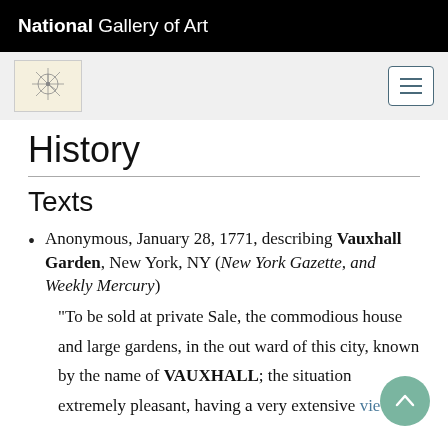National Gallery of Art
History
Texts
Anonymous, January 28, 1771, describing Vauxhall Garden, New York, NY (New York Gazette, and Weekly Mercury)
“To be sold at private Sale, the commodious house and large gardens, in the out ward of this city, known by the name of VAUXHALL; the situation extremely pleasant, having a very extensive view